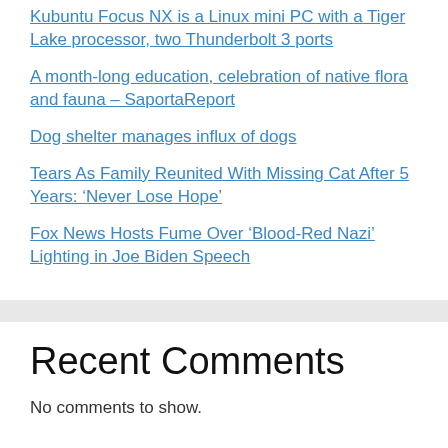Kubuntu Focus NX is a Linux mini PC with a Tiger Lake processor, two Thunderbolt 3 ports
A month-long education, celebration of native flora and fauna – SaportaReport
Dog shelter manages influx of dogs
Tears As Family Reunited With Missing Cat After 5 Years: ‘Never Lose Hope’
Fox News Hosts Fume Over ‘Blood-Red Nazi’ Lighting in Joe Biden Speech
Recent Comments
No comments to show.